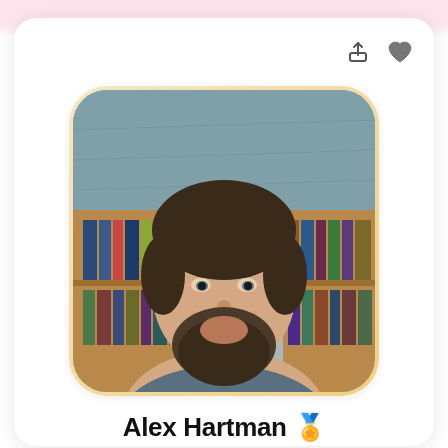[Figure (photo): Profile photo of Alex Hartman, a man with dark hair and a beard, sitting in front of a bookshelf with a world map on the wall behind him. The photo has rounded corners and a subtle golden border.]
Alex Hartman 🏅
⭐ 5 (16 reviews)